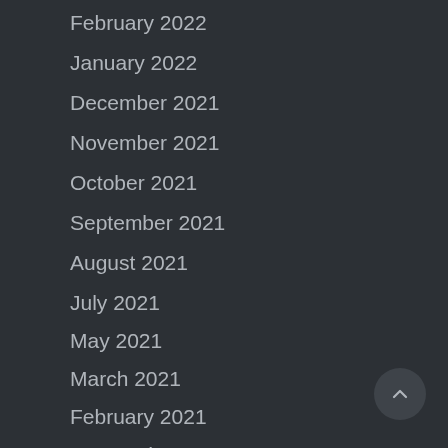February 2022
January 2022
December 2021
November 2021
October 2021
September 2021
August 2021
July 2021
May 2021
March 2021
February 2021
Categories
All